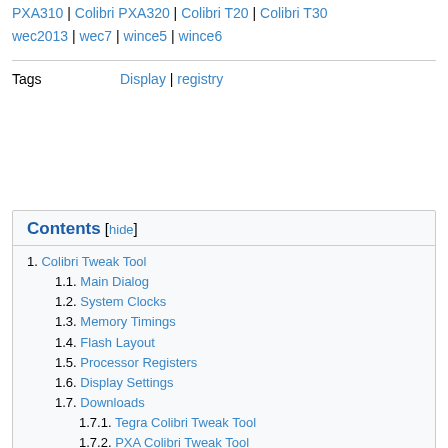PXA310 | Colibri PXA320 | Colibri T20 | Colibri T30
wec2013 | wec7 | wince5 | wince6
Tags   Display | registry
Contents [hide]
1. Colibri Tweak Tool
1.1. Main Dialog
1.2. System Clocks
1.3. Memory Timings
1.4. Flash Layout
1.5. Processor Registers
1.6. Display Settings
1.7. Downloads
1.7.1. Tegra Colibri Tweak Tool
1.7.2. PXA Colibri Tweak Tool